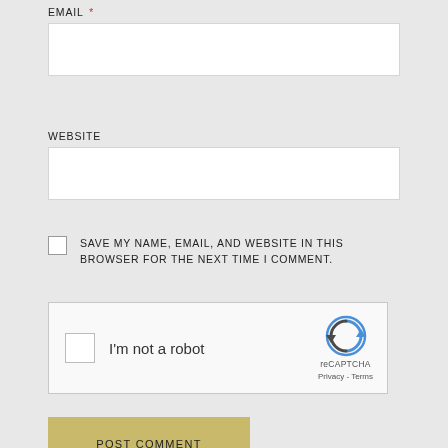EMAIL *
WEBSITE
SAVE MY NAME, EMAIL, AND WEBSITE IN THIS BROWSER FOR THE NEXT TIME I COMMENT.
[Figure (other): reCAPTCHA widget with 'I'm not a robot' checkbox, reCAPTCHA logo, and Privacy - Terms links]
POST COMMENT